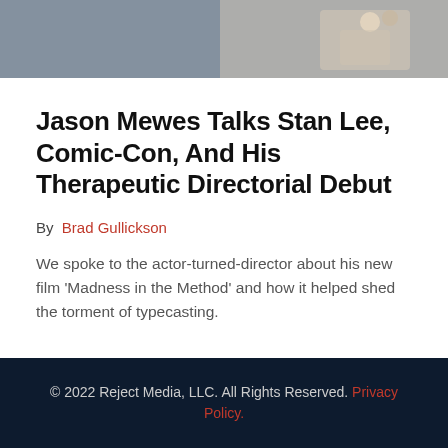[Figure (photo): Partial photo of Jason Mewes, cropped at top of page showing person sitting with cartoon/illustration visible in background]
Jason Mewes Talks Stan Lee, Comic-Con, And His Therapeutic Directorial Debut
By  Brad Gullickson
We spoke to the actor-turned-director about his new film 'Madness in the Method' and how it helped shed the torment of typecasting.
1  2  Next »
© 2022 Reject Media, LLC. All Rights Reserved. Privacy Policy.